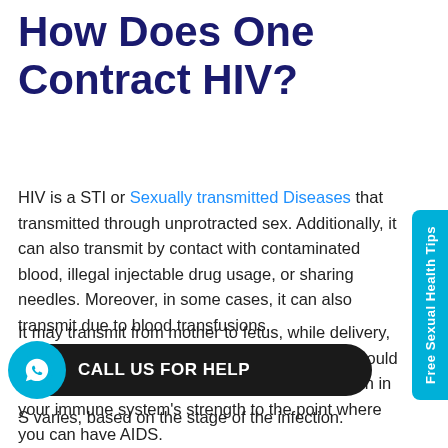How Does One Contract HIV?
HIV is a STI or Sexually transmitted Diseases that transmitted through unprotracted sex. Additionally, it can also transmit by contact with contaminated blood, illegal injectable drug usage, or sharing needles. Moreover, in some cases, it can also transmit due to blood transfusions.
It may transmit from mother to fetus, while delivery, or nursing. Further, if there is no medication, it could take years to get rid of it. HIV causes a reduction in your immune system's strength to the point where you can have AIDS.
S varies, based on the stage of the infection.